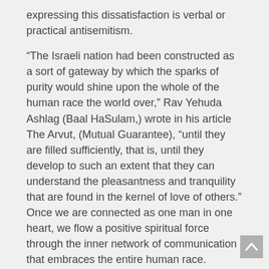expressing this dissatisfaction is verbal or practical antisemitism.
“The Israeli nation had been constructed as a sort of gateway by which the sparks of purity would shine upon the whole of the human race the world over,” Rav Yehuda Ashlag (Baal HaSulam,) wrote in his article The Arvut, (Mutual Guarantee), “until they are filled sufficiently, that is, until they develop to such an extent that they can understand the pleasantness and tranquility that are found in the kernel of love of others.” Once we are connected as one man in one heart, we flow a positive spiritual force through the inner network of communication that embraces the entire human race.
But instead of loving and uniting, we hate and hurt each other. Instead of acting in friendship, we treat each other badly. The failure to fulfill our spiritual role is felt in the countries of the world as they do not receive the sparks of love for others that should flow through us. This is the root cause of antisemitism.